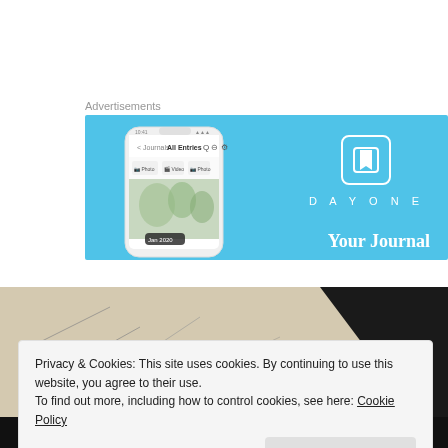Advertisements
[Figure (screenshot): DayOne app advertisement banner with sky-blue background, showing a smartphone with the DayOne app interface on the left, and the DayOne logo (book icon) with brand name and tagline 'Your Journal' on the right.]
[Figure (photo): Partial photo of paper with pencil sketches/drawings on a dark background, partially obscured by a cookie consent banner.]
Privacy & Cookies: This site uses cookies. By continuing to use this website, you agree to their use.
To find out more, including how to control cookies, see here: Cookie Policy
Close and accept